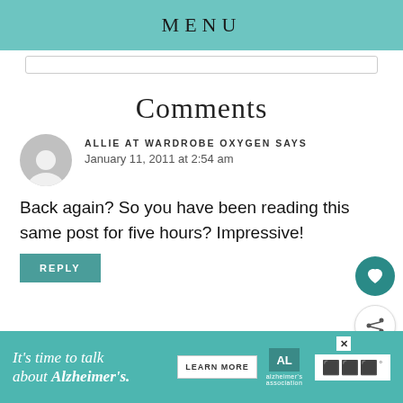MENU
Comments
ALLIE AT WARDROBE OXYGEN SAYS
January 11, 2011 at 2:54 am
Back again? So you have been reading this same post for five hours? Impressive!
REPLY
[Figure (infographic): Advertisement banner for Alzheimer's Association with text 'It's time to talk about Alzheimer's.' and a Learn More button]